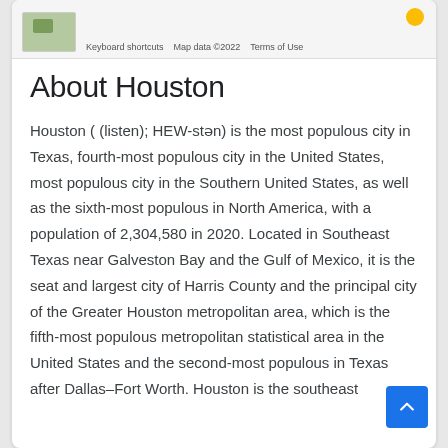[Figure (screenshot): Partial Google Maps screenshot showing map thumbnail with footer text: Keyboard shortcuts, Map data ©2022, Terms of Use]
About Houston
Houston ( (listen); HEW-stən) is the most populous city in Texas, fourth-most populous city in the United States, most populous city in the Southern United States, as well as the sixth-most populous in North America, with a population of 2,304,580 in 2020. Located in Southeast Texas near Galveston Bay and the Gulf of Mexico, it is the seat and largest city of Harris County and the principal city of the Greater Houston metropolitan area, which is the fifth-most populous metropolitan statistical area in the United States and the second-most populous in Texas after Dallas–Fort Worth. Houston is the southeast